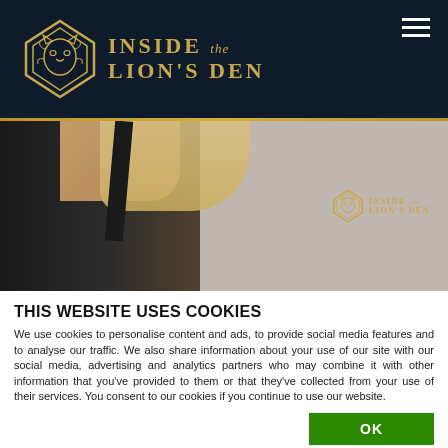Inside the Lion's Den — website header with logo
[Figure (photo): Hero image showing a woman in a black dress with blonde hair, with 'Inside the Lion's Den' watermark logo on the right side]
THIS WEBSITE USES COOKIES
We use cookies to personalise content and ads, to provide social media features and to analyse our traffic. We also share information about your use of our site with our social media, advertising and analytics partners who may combine it with other information that you've provided to them or that they've collected from your use of their services. You consent to our cookies if you continue to use our website.
OK
Necessary  Preferences  Statistics  Marketing  Show details